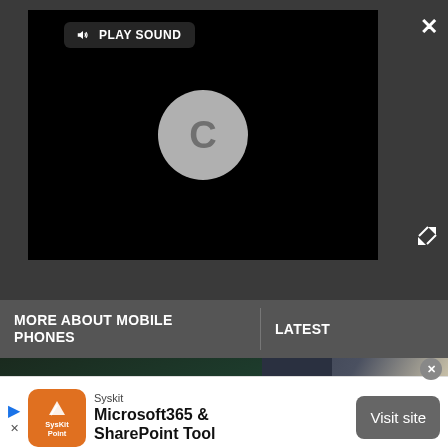[Figure (screenshot): Video player with dark background showing a loading circle (C) and a PLAY SOUND button with speaker icon. Close (X) and expand buttons visible.]
MORE ABOUT MOBILE PHONES
LATEST
[Figure (photo): Two dark smartphones with green and blue question marks overlaid, on a dark teal/green background.]
[Figure (photo): Apple AirPods Pro in open white charging case, resting on a wooden surface.]
[Figure (screenshot): Advertisement banner: SysKit logo (orange), text 'Syskit Microsoft365 & SharePoint Tool', Visit site button.]